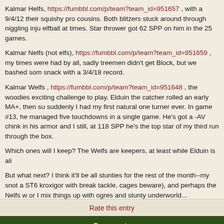Kalmar Helfs, https://fumbbl.com/p/team?team_id=951657 , with a 9/4/12 their squishy pro cousins. Both blitzers stuck around through niggling inju elfball at times. Star thrower got 62 SPP on him in the 25 games.
Kalmar Nelfs (not elfs), https://fumbbl.com/p/team?team_id=951659 , my times were had by all, sadly treemen didn't get Block, but we bashed som snack with a 3/4/18 record.
Kalmar Welfs , https://fumbbl.com/p/team?team_id=951648 , the woodies exciting challenge to play. Elduin the catcher rolled an early MA+, then su suddenly I had my first natural one turner ever. In game #13, he managed five touchdowns in a single game. He's got a -AV chink in his armor and I still, at 118 SPP he's the top star of my third run through the box.
Which ones will I keep? The Welfs are keepers, at least while Elduin is ali
But what next? I think it'll be all stunties for the rest of the month--my snot a ST6 kroxigor with break tackle, cages beware), and perhaps the Nelfs w or I mix things up with ogres and stunty underworld...
Thanks to all friendly opponent coaches for the chats and good times! And administration for keeping this beautiful machine running!
Rate this entry
Comments